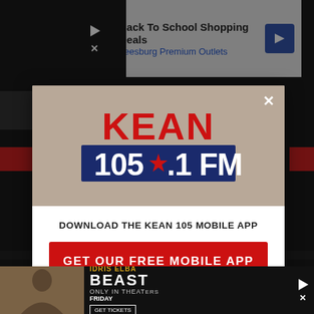[Figure (screenshot): Top advertisement banner for Back To School Shopping Deals at Leesburg Premium Outlets]
[Figure (screenshot): Modal popup for KEAN 105.1 FM radio station app download with logo, download CTA button, and Amazon Alexa listen option]
DOWNLOAD THE KEAN 105 MOBILE APP
GET OUR FREE MOBILE APP
Also listen on:  amazon alexa
[Figure (screenshot): Bottom advertisement banner for Beast movie starring Idris Elba, Only in Theaters Friday, Get Tickets]